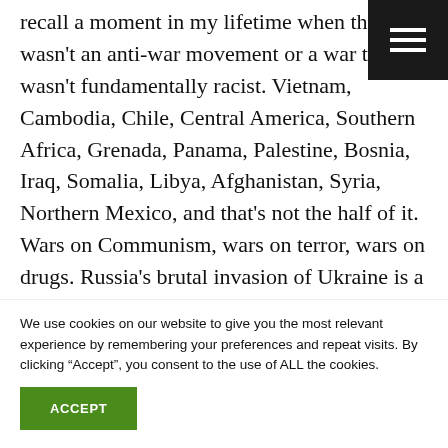recall a moment in my lifetime when there wasn't an anti-war movement or a war that wasn't fundamentally racist. Vietnam, Cambodia, Chile, Central America, Southern Africa, Grenada, Panama, Palestine, Bosnia, Iraq, Somalia, Libya, Afghanistan, Syria, Northern Mexico, and that's not the half of it. Wars on Communism, wars on terror, wars on drugs. Russia's brutal invasion of Ukraine is a bit different in that we're facing the threat of nuclear war, a potential escalation that might draw the US and NATO directly into the
We use cookies on our website to give you the most relevant experience by remembering your preferences and repeat visits. By clicking "Accept", you consent to the use of ALL the cookies.